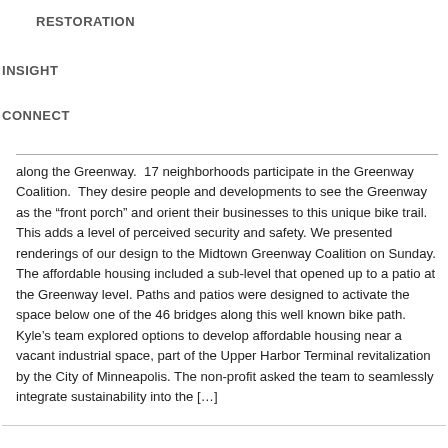RESTORATION
INSIGHT
CONNECT
along the Greenway.  17 neighborhoods participate in the Greenway Coalition.  They desire people and developments to see the Greenway as the “front porch” and orient their businesses to this unique bike trail.  This adds a level of perceived security and safety. We presented renderings of our design to the Midtown Greenway Coalition on Sunday. The affordable housing included a sub-level that opened up to a patio at the Greenway level. Paths and patios were designed to activate the space below one of the 46 bridges along this well known bike path. Kyle’s team explored options to develop affordable housing near a vacant industrial space, part of the Upper Harbor Terminal revitalization by the City of Minneapolis. The non-profit asked the team to seamlessly integrate sustainability into the […]